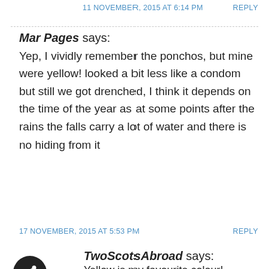11 NOVEMBER, 2015 AT 6:14 PM    REPLY
Mar Pages says:
Yep, I vividly remember the ponchos, but mine were yellow! looked a bit less like a condom but still we got drenched, I think it depends on the time of the year as at some points after the rains the falls carry a lot of water and there is no hiding from it
17 NOVEMBER, 2015 AT 5:53 PM    REPLY
TwoScotsAbroad says:
Yellow is my favourite colour!